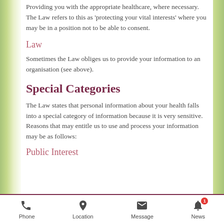Providing you with the appropriate healthcare, where necessary. The Law refers to this as 'protecting your vital interests' where you may be in a position not to be able to consent.
Law
Sometimes the Law obliges us to provide your information to an organisation (see above).
Special Categories
The Law states that personal information about your health falls into a special category of information because it is very sensitive. Reasons that may entitle us to use and process your information may be as follows:
Public Interest
Phone | Location | Message | News